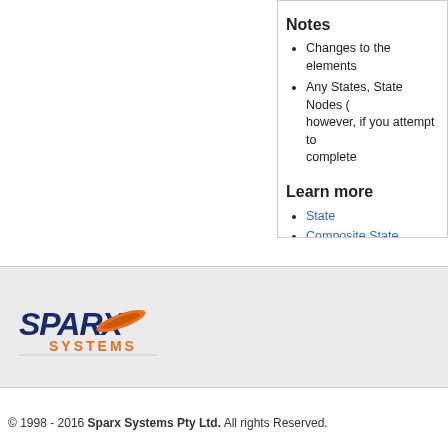Notes
Changes to the elements
Any States, State Nodes (however, if you attempt to complete
Learn more
State
Composite State
Pseudo-States
State Machines (diagrams)
State Machine (element ty
[Figure (logo): Sparx Systems logo with orange and dark blue text]
© 1998 - 2016 Sparx Systems Pty Ltd. All rights Reserved.